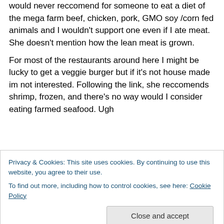would never reccomend for someone to eat a diet of the mega farm beef, chicken, pork, GMO soy /corn fed animals and I wouldn't support one even if I ate meat. She doesn't mention how the lean meat is grown.
For most of the restaurants around here I might be lucky to get a veggie burger but if it's not house made im not interested. Following the link, she reccomends shrimp, frozen, and there's no way would I consider eating farmed seafood. Ugh
Privacy & Cookies: This site uses cookies. By continuing to use this website, you agree to their use.
To find out more, including how to control cookies, see here: Cookie Policy
Close and accept
homemade salad dressings.